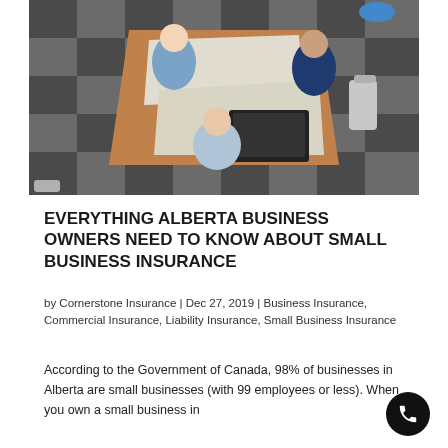[Figure (photo): Aerial/top-down view of three people sitting around a table with blueprints, a laptop, and office supplies, collaborating on plans.]
EVERYTHING ALBERTA BUSINESS OWNERS NEED TO KNOW ABOUT SMALL BUSINESS INSURANCE
by Cornerstone Insurance | Dec 27, 2019 | Business Insurance, Commercial Insurance, Liability Insurance, Small Business Insurance
According to the Government of Canada, 98% of businesses in Alberta are small businesses (with 99 employees or less).  When you own a small business in